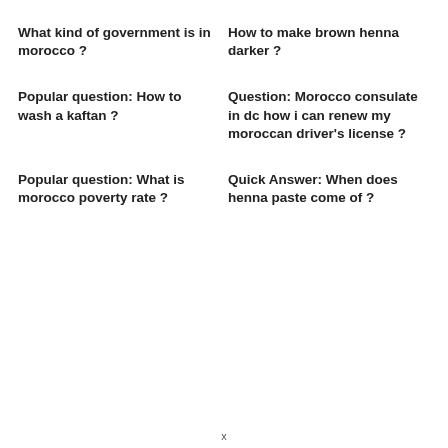What kind of government is in morocco ?
How to make brown henna darker ?
Popular question: How to wash a kaftan ?
Question: Morocco consulate in dc how i can renew my moroccan driver's license ?
Popular question: What is morocco poverty rate ?
Quick Answer: When does henna paste come of ?
x